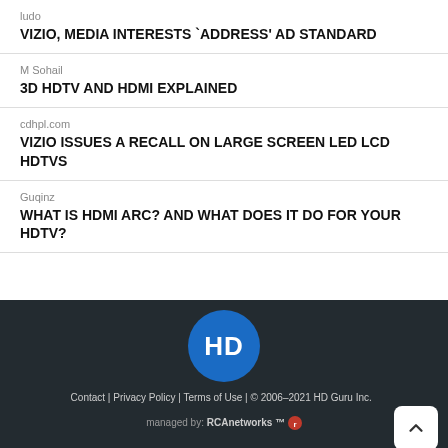ludo
VIZIO, MEDIA INTERESTS `ADDRESS' AD STANDARD
M Sohail
3D HDTV AND HDMI EXPLAINED
cdhpl.com
VIZIO ISSUES A RECALL ON LARGE SCREEN LED LCD HDTVS
Guqinz
WHAT IS HDMI ARC? AND WHAT DOES IT DO FOR YOUR HDTV?
[Figure (logo): HD Guru logo - blue circle with white HD text]
Contact | Privacy Policy | Terms of Use | © 2006–2021 HD Guru Inc. managed by: RCAnetworks ™